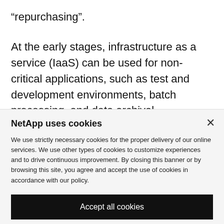“repurchasing”.
At the early stages, infrastructure as a service (IaaS) can be used for non-critical applications, such as test and development environments, batch processing, and data archival.
NetApp uses cookies
We use strictly necessary cookies for the proper delivery of our online services. We use other types of cookies to customize experiences and to drive continuous improvement. By closing this banner or by browsing this site, you agree and accept the use of cookies in accordance with our policy.
Accept all cookies
Cookie settings